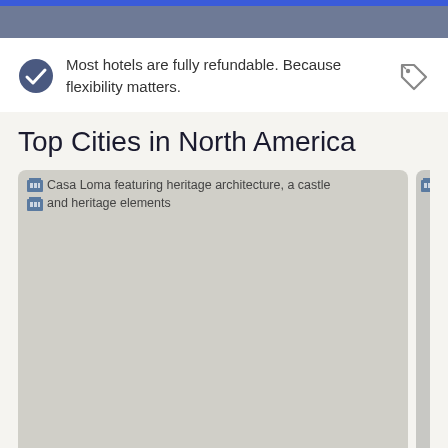[Figure (screenshot): Top navigation bar with blue accent stripe and gray background]
Most hotels are fully refundable. Because flexibility matters.
Top Cities in North America
[Figure (photo): Casa Loma featuring heritage architecture, a castle and heritage elements. City label: Toronto]
[Figure (photo): Partially visible city card to the right, labeled Ne...]
Check North America hotel availability